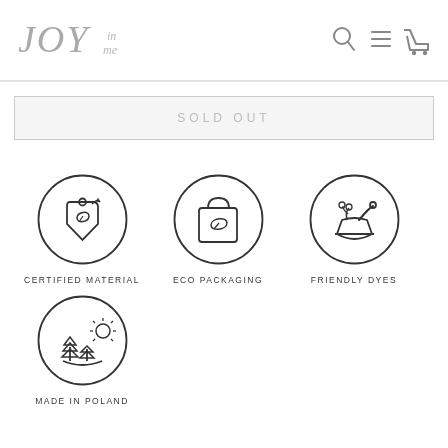[Figure (logo): JOY in me brand logo in light grey italic text]
[Figure (infographic): Navigation icons: search magnifier, hamburger menu, shopping cart]
SOLD OUT
[Figure (infographic): Certified Material icon - circle with leaf tag inside]
CERTIFIED MATERIAL
[Figure (infographic): Eco Packaging icon - circle with shopping bag with leaf]
ECO PACKAGING
[Figure (infographic): Friendly Dyes icon - circle with mortar and pestle with plant]
FRIENDLY DYES
[Figure (infographic): Made in Poland icon - circle with trees and sun]
MADE IN POLAND